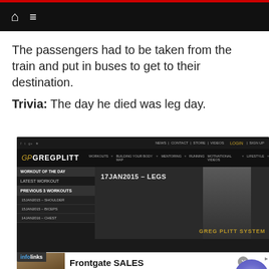Navigation bar with home and menu icons
The passengers had to be taken from the train and put in buses to get to their destination.
Trivia: The day he died was leg day.
[Figure (screenshot): Screenshot of GregPlitt.com website showing workout of the day menu with 17JAN2015 - LEGS selected, with an infolinks badge overlay]
[Figure (screenshot): Advertisement banner for Frontgate SALES: 20% off sitewide plus free shipping from August 19-22, frontgate.com]